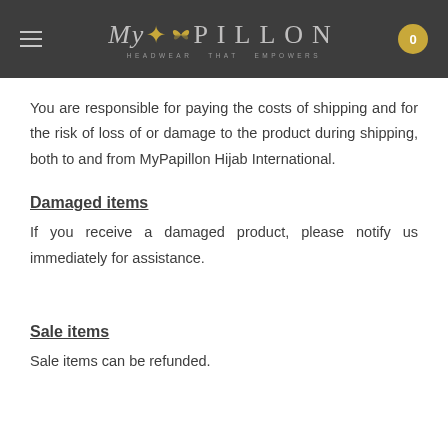MyPapillon Hijab International — navigation header
You are responsible for paying the costs of shipping and for the risk of loss of or damage to the product during shipping, both to and from MyPapillon Hijab International.
Damaged items
If you receive a damaged product, please notify us immediately for assistance.
Sale items
Sale items can be refunded.